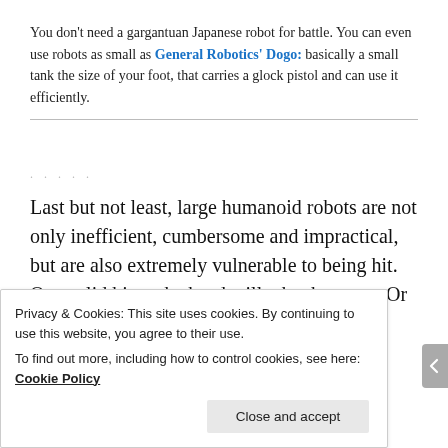You don't need a gargantuan Japanese robot for battle. You can even use robots as small as General Robotics' Dogo: basically a small tank the size of your foot, that carries a glock pistol and can use it efficiently.
Last but not least, large humanoid robots are not only inefficient, cumbersome and impractical, but are also extremely vulnerable to being hit. One solid hit to the head will take them out. Or to a leg. Or the
Privacy & Cookies: This site uses cookies. By continuing to use this website, you agree to their use.
To find out more, including how to control cookies, see here: Cookie Policy